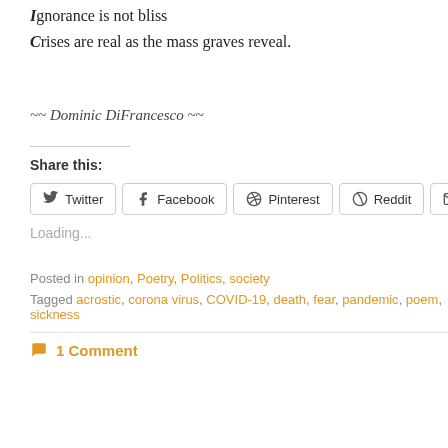Ignorance is not bliss
Crises are real as the mass graves reveal.
~~ Dominic DiFrancesco ~~
Share this:
Twitter  Facebook  Pinterest  Reddit  Email
Loading...
Posted in opinion, Poetry, Politics, society
Tagged acrostic, corona virus, COVID-19, death, fear, pandemic, poem, sickness
1 Comment